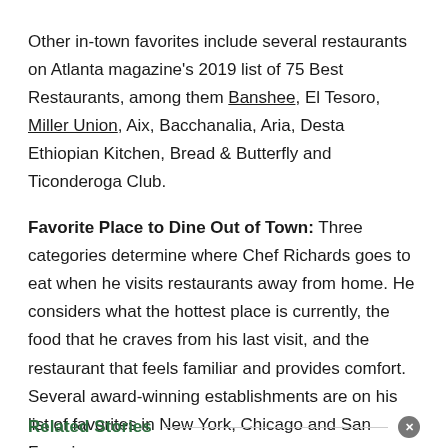Other in-town favorites include several restaurants on Atlanta magazine's 2019 list of 75 Best Restaurants, among them Banshee, El Tesoro, Miller Union, Aix, Bacchanalia, Aria, Desta Ethiopian Kitchen, Bread & Butterfly and Ticonderoga Club.
Favorite Place to Dine Out of Town: Three categories determine where Chef Richards goes to eat when he visits restaurants away from home. He considers what the hottest place is currently, the food that he craves from his last visit, and the restaurant that feels familiar and provides comfort. Several award-winning establishments are on his list of favorites in New York, Chicago and San Francisco.
Related Stories